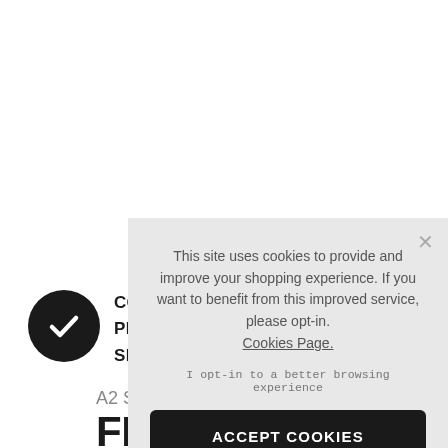[Figure (screenshot): Black circle with white checkmark icon]
COLLECT
PRODUC
SPENT
A2 Stainles
FROM £0.55
This site uses cookies to provide and improve your shopping experience. If you want to benefit from this improved service, please opt-in. Cookies Page.
I opt-in to a better browsing experience
ACCEPT COOKIES